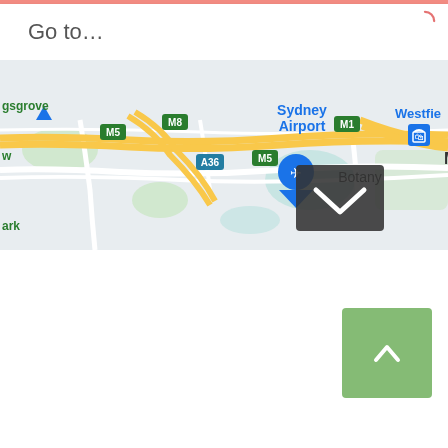[Figure (screenshot): Screenshot of a mobile app UI showing a 'Go to...' search bar at the top with a loading spinner, and a Google Maps view of Sydney Airport area with road labels M5, M8, M1, A36, M5, place names including Sydney Airport, Botany, Westfield, and a location marker. A dark dropdown arrow button overlays the map. Below the map is a white content area. In the lower right is a green scroll-to-top button with an upward chevron.]